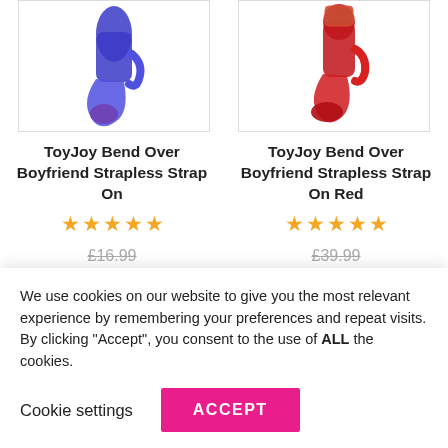[Figure (photo): Blue ToyJoy Bend Over Boyfriend Strapless Strap On product image on white background]
[Figure (photo): Red ToyJoy Bend Over Boyfriend Strapless Strap On product image on white background]
ToyJoy Bend Over Boyfriend Strapless Strap On
ToyJoy Bend Over Boyfriend Strapless Strap On Red
★★★★★ (5 stars)
★★★★★ (5 stars)
£16.99
£39.99
We use cookies on our website to give you the most relevant experience by remembering your preferences and repeat visits. By clicking "Accept", you consent to the use of ALL the cookies.
Cookie settings
ACCEPT